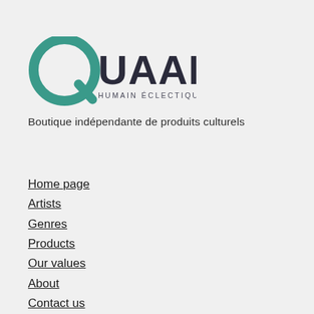[Figure (logo): Quaartz logo: a teal letter Q with a circular shape, followed by UAARTZ in dark bold sans-serif caps, and the tagline HUMAIN ÉCLECTIQUE INDÉPENDANT in smaller caps below]
Boutique indépendante de produits culturels
Home page
Artists
Genres
Products
Our values
About
Contact us